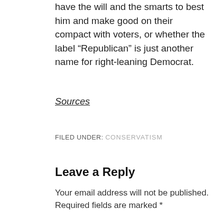have the will and the smarts to best him and make good on their compact with voters, or whether the label “Republican” is just another name for right-leaning Democrat.
Sources
FILED UNDER: CONSERVATISM
Leave a Reply
Your email address will not be published. Required fields are marked *
Comment *